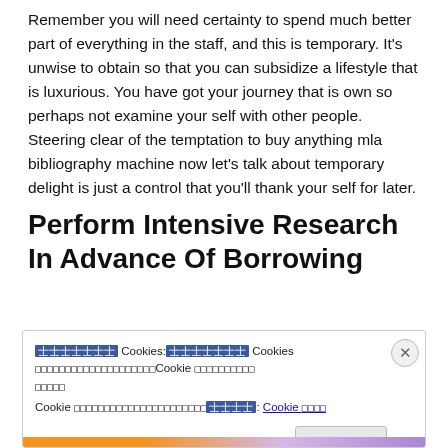Remember you will need certainty to spend much better part of everything in the staff, and this is temporary. It's unwise to obtain so that you can subsidize a lifestyle that is luxurious. You have got your journey that is own so perhaps not examine your self with other people. Steering clear of the temptation to buy anything mla bibliography machine now let's talk about temporary delight is just a control that you'll thank your self for later.
Perform Intensive Research In Advance Of Borrowing
[Cookie notice box with Japanese/CJK text about cookies, including a Cookie settings link and an accept button]